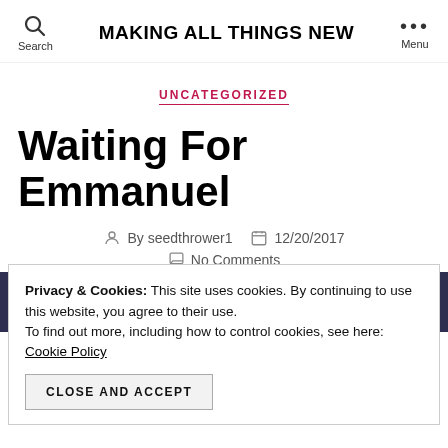MAKING ALL THINGS NEW
UNCATEGORIZED
Waiting For Emmanuel
By seedthrower1  12/20/2017
No Comments
Privacy & Cookies: This site uses cookies. By continuing to use this website, you agree to their use. To find out more, including how to control cookies, see here: Cookie Policy
CLOSE AND ACCEPT